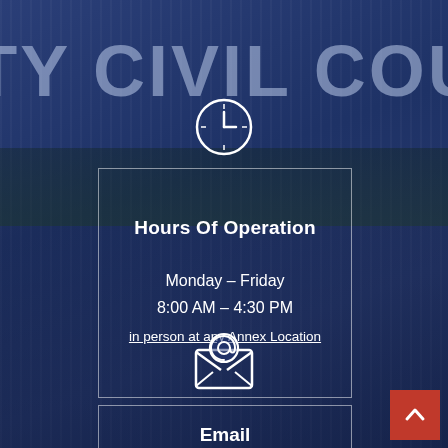[Figure (photo): County Civil Court building sign and exterior photo used as dark blue-tinted background]
UNTY CIVIL COURT
[Figure (illustration): Clock icon (white outline circle with clock hands)]
Hours Of Operation
Monday – Friday
8:00 AM – 4:30 PM
in person at any Annex Location
[Figure (illustration): Email envelope icon with @ symbol (white outline)]
Email